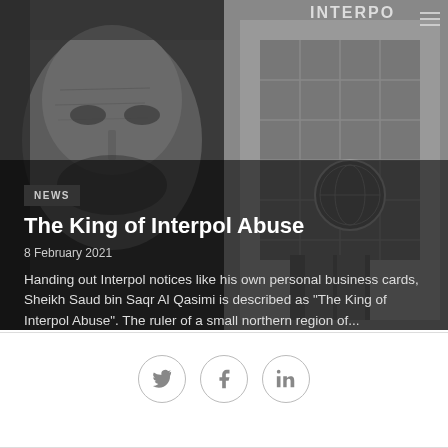[Figure (photo): Black and white composite image: left half shows a close-up of an elderly man's face, right half shows the exterior of an INTERPOL building with glass facade and INTERPOL logo signage.]
NEWS
The King of Interpol Abuse
8 February 2021
Handing out Interpol notices like his own personal business cards, Sheikh Saud bin Saqr Al Qasimi is described as "The King of Interpol Abuse". The ruler of a small northern region of...
[Figure (infographic): Social media share icons: Twitter bird icon, Facebook f icon, LinkedIn in icon — each inside a circular border.]